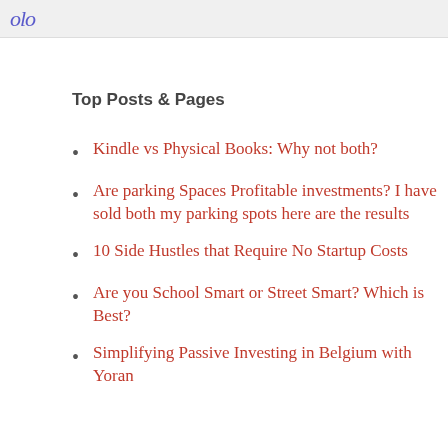olo
Top Posts & Pages
Kindle vs Physical Books: Why not both?
Are parking Spaces Profitable investments? I have sold both my parking spots here are the results
10 Side Hustles that Require No Startup Costs
Are you School Smart or Street Smart? Which is Best?
Simplifying Passive Investing in Belgium with Yoran